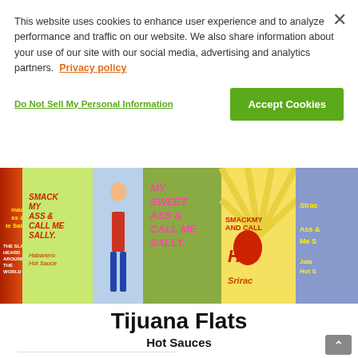This website uses cookies to enhance user experience and to analyze performance and traffic on our website. We also share information about your use of our site with our social media, advertising and analytics partners. Privacy policy
Do Not Sell My Personal Information
Accept Cookies
[Figure (photo): Row of hot sauce bottles with colorful labels reading 'Smack My Ass & Call Me Sally' Habanero Hot Sauce, My Sweet Ass & Call Me Sally, and Smack My Ass and Call Me Hot Sriracha]
Tijuana Flats
Hot Sauces
— Description